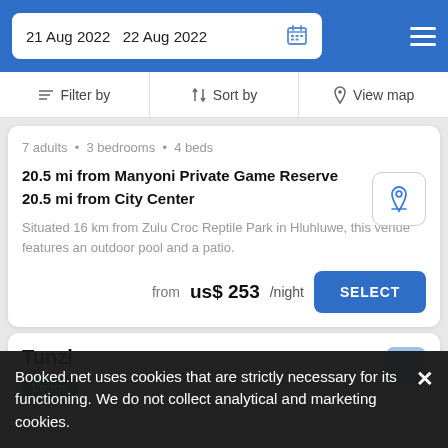21 Aug 2022  22 Aug 2022
Filter by  Sort by  View map
7 adults · 3 bedrooms · 4 beds
20.5 mi from Manyoni Private Game Reserve
20.5 mi from City Center
Situated 16 km from Zulu Croc Reptile Park in Hluhluwe, this venue features an outdoor pool and a patio.
from us$ 253/night
Tunzi
Lodge
Booked.net uses cookies that are strictly necessary for its functioning. We do not collect analytical and marketing cookies.